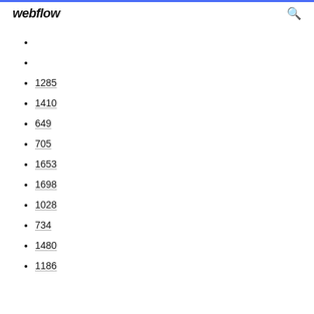webflow
1285
1410
649
705
1653
1698
1028
734
1480
1186